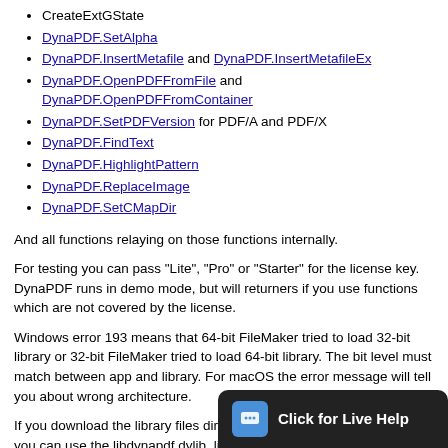CreateExtGState
DynaPDF.SetAlpha
DynaPDF.InsertMetafile and DynaPDF.InsertMetafileEx
DynaPDF.OpenPDFFromFile and DynaPDF.OpenPDFFromContainer
DynaPDF.SetPDFVersion for PDF/A and PDF/X
DynaPDF.FindText
DynaPDF.HighlightPattern
DynaPDF.ReplaceImage
DynaPDF.SetCMapDir
And all functions relaying on those functions internally.
For testing you can pass "Lite", "Pro" or "Starter" for the license key. DynaPDF runs in demo mode, but will returners if you use functions which are not covered by the license.
Windows error 193 means that 64-bit FileMaker tried to load 32-bit library or 32-bit FileMaker tried to load 64-bit library. The bit level must match between app and library. For macOS the error message will tell you about wrong architecture.
If you download the library files directly from dynaforms.com website, you can use the libdynapdf.dylib, libdynapdf.so or dynapdf.dll files, too.
For iOS with plugin version 7.3, you can just pass name of the dynapdf.framework or full file path. Please right platform (device vs. simulator) to your the frameworks to link to in order to get it